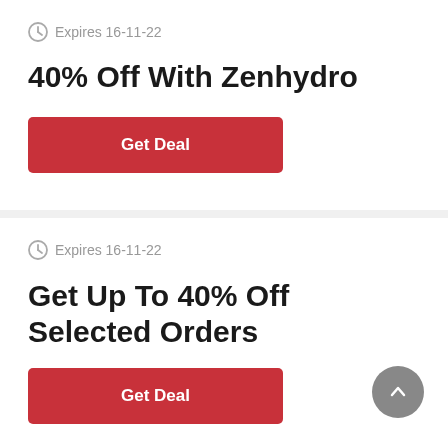Expires 16-11-22
40% Off With Zenhydro
Get Deal
Expires 16-11-22
Get Up To 40% Off Selected Orders
Get Deal